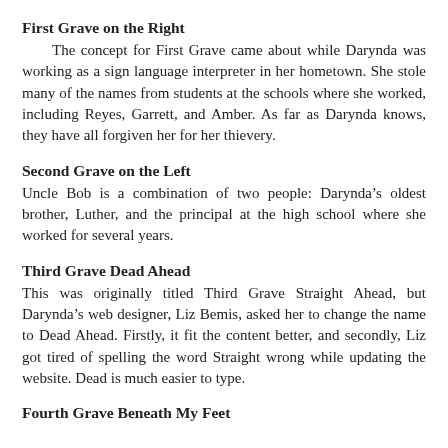First Grave on the Right
The concept for First Grave came about while Darynda was working as a sign language interpreter in her hometown. She stole many of the names from students at the schools where she worked, including Reyes, Garrett, and Amber. As far as Darynda knows, they have all forgiven her for her thievery.
Second Grave on the Left
Uncle Bob is a combination of two people: Darynda’s oldest brother, Luther, and the principal at the high school where she worked for several years.
Third Grave Dead Ahead
This was originally titled Third Grave Straight Ahead, but Darynda’s web designer, Liz Bemis, asked her to change the name to Dead Ahead. Firstly, it fit the content better, and secondly, Liz got tired of spelling the word Straight wrong while updating the website. Dead is much easier to type.
Fourth Grave Beneath My Feet